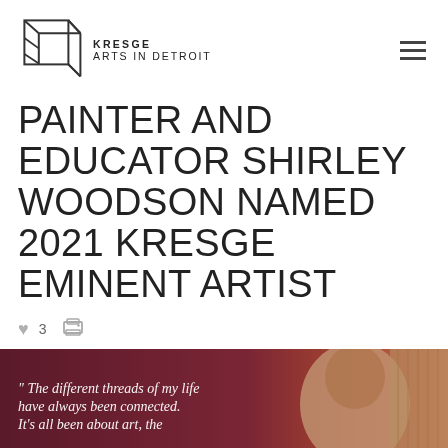KRESGE ARTS IN DETROIT
PAINTER AND EDUCATOR SHIRLEY WOODSON NAMED 2021 KRESGE EMINENT ARTIST
3
[Figure (photo): Photo of Shirley Woodson with a dark maroon gradient overlay on the left side and a quote: "The different threads of my life have always been connected. It's all been about art, the..."]